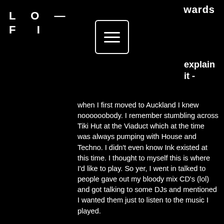LO-FI
wards
explain it -
when I first moved to Auckland I knew noooooobody. I remember stumbling across Tiki Hut at the Viaduct which at the time was always pumping with House and Techno. I didn't even know Ink existed at this time. I thought to myself this is where I'd like to play. So yer, I went in talked to people gave out my bloody mix CD's (lol) and got talking to some DJs and mentioned I wanted them just to listen to the music I played.

The night went on and I ended up being introduced to the 2 people who ran the night (not going to mention names). So fuck, here I am, it's my opportunity to talk to these 2 promoters and I'm giving them my shpeel of who I am and how passionate I am blah blah. I was shitting myself!!! The woman says to me "so who's your favorite producer etc" my first thought and thing that came to my head was "err yer you know a bit of Tiesto and Dusky"